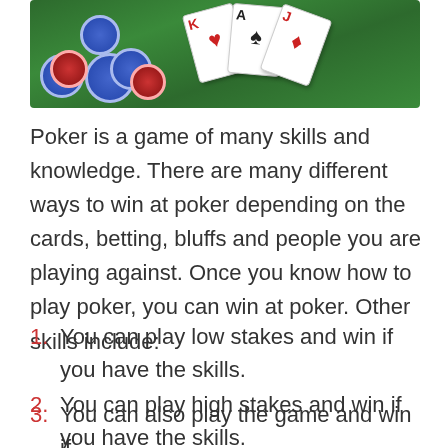[Figure (photo): Poker chips (red and blue) and playing cards (showing a King of Hearts and other cards) on a green felt poker table surface.]
Poker is a game of many skills and knowledge. There are many different ways to win at poker depending on the cards, betting, bluffs and people you are playing against. Once you know how to play poker, you can win at poker. Other skills include:
You can play low stakes and win if you have the skills.
You can play high stakes and win if you have the skills.
You can also...